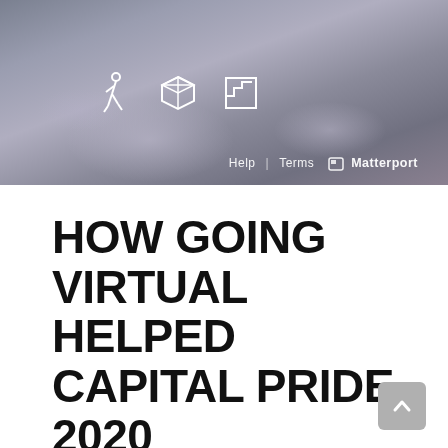[Figure (screenshot): Matterport virtual tour banner interface showing navigation icons (walking person, cube, floor plan) and Help | Terms | Matterport links on a blurred abstract background with circular overlays]
HOW GOING VIRTUAL HELPED CAPITAL PRIDE 2020
Broken down by the numbers, digital visits to Capital Pride's website were up nearly 100% this year. While most years their Art Showcase and Community Market would entertain hundreds of in-person visitors, this year more than a thousand were